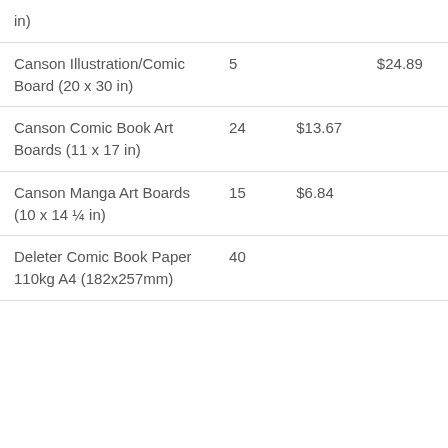| in) |  |  |  |
| Canson Illustration/Comic Board (20 x 30 in) | 5 |  | $24.89 |
| Canson Comic Book Art Boards (11 x 17 in) | 24 | $13.67 |  |
| Canson Manga Art Boards (10 x 14 ¼ in) | 15 | $6.84 |  |
| Deleter Comic Book Paper 110kg A4 (182x257mm) | 40 |  |  |